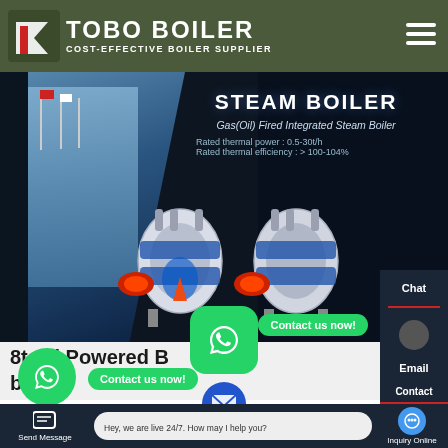[Figure (screenshot): TOBO BOILER website screenshot showing a steam boiler product page with logo header, hero image of industrial steam boilers, contact sidebar with Chat and Email options, page title '8t Oil Powered Boiler Cheap' in Azerbaijan, WhatsApp contact buttons, and a bottom navigation bar with Send Message, live chat bubble, and Inquiry Online options.]
TOBO BOILER
COST-EFFECTIVE BOILER SUPPLIER
STEAM BOILER
Gas(Oil) Fired Integrated Steam Boiler
Rated thermal power : 0.5-30t/h
Rated thermal efficiency : > 100-104%
Chat
Email
Contact
8t Oil Powered Boiler Cheap
baijan
Contact us now!
Contact us now!
Send Message
Hey, we are live 24/7. How may I help you?
Inquiry Online